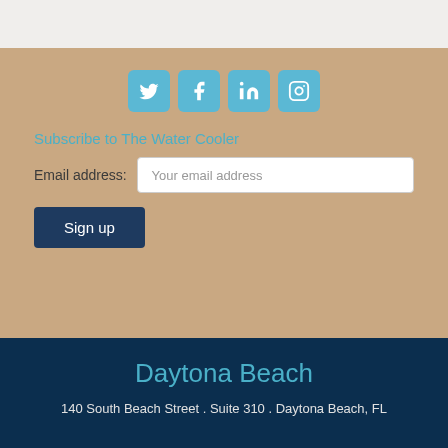[Figure (infographic): Social media icons: Twitter, Facebook, LinkedIn, Instagram — teal/blue rounded squares]
Subscribe to The Water Cooler
Email address: [Your email address input field]
Sign up
Daytona Beach
140 South Beach Street . Suite 310 . Daytona Beach, FL 32114